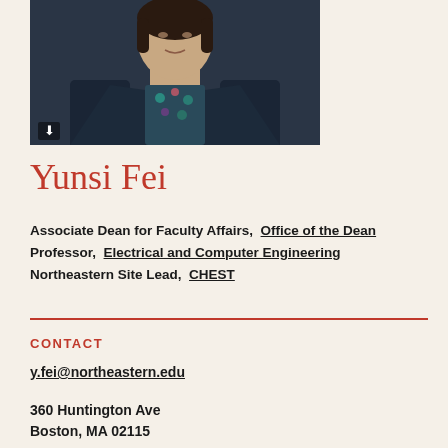[Figure (photo): Headshot photo of Yunsi Fei, a woman in a dark blazer with a floral blouse, photographed from the shoulders up against a dark background. A download icon is visible in the lower left corner of the photo.]
Yunsi Fei
Associate Dean for Faculty Affairs,  Office of the Dean
Professor,  Electrical and Computer Engineering
Northeastern Site Lead,  CHEST
CONTACT
y.fei@northeastern.edu
360 Huntington Ave
Boston, MA 02115